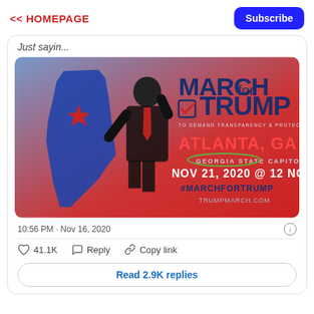<< HOMEPAGE
Subscribe
Just sayin...
[Figure (photo): March for Trump event promotional image. Shows Trump figure with Georgia state silhouette. Text reads: MARCH for TRUMP, TO DEMAND TRANSPARENCY & PROTECT ELECTION INTEGRITY, ATLANTA, GA, GEORGIA STATE CAPITOL, NOV 21, 2020 @ 12 NOON, #MARCHFORTRUMP, TRUMPMARCH.COM]
10:56 PM · Nov 16, 2020
41.1K   Reply   Copy link
Read 2.9K replies